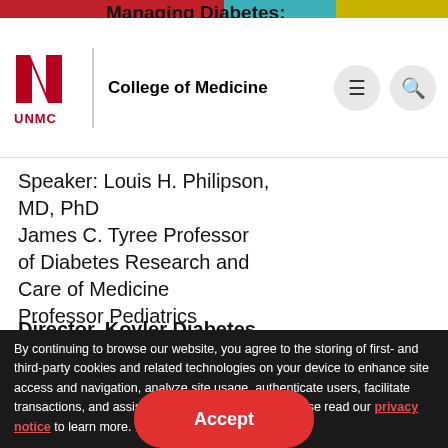UNMC College of Medicine
Managing Diabetes:
Speaker: Louis H. Philipson, MD, PhD
James C. Tyree Professor of Diabetes Research and Care of Medicine
Professor Pediatrics
Director, Kovler Diabetes
By continuing to browse our website, you agree to the storing of first- and third-party cookies and related technologies on your device to enhance site access and navigation, analyze site usage, authenticate users, facilitate transactions, and assist in our marketing efforts. Please read our privacy notice to learn more.
Sponsoring Division:
Diabetes, Endocrinology and Metabolism